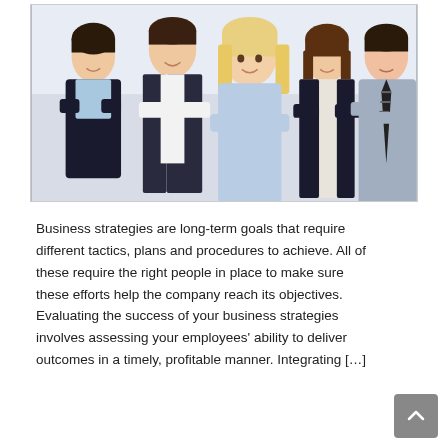[Figure (photo): Five business professionals (three women, two men) standing in a group with arms crossed, smiling, in office attire against a bright background.]
Business strategies are long-term goals that require different tactics, plans and procedures to achieve. All of these require the right people in place to make sure these efforts help the company reach its objectives. Evaluating the success of your business strategies involves assessing your employees' ability to deliver outcomes in a timely, profitable manner. Integrating […]